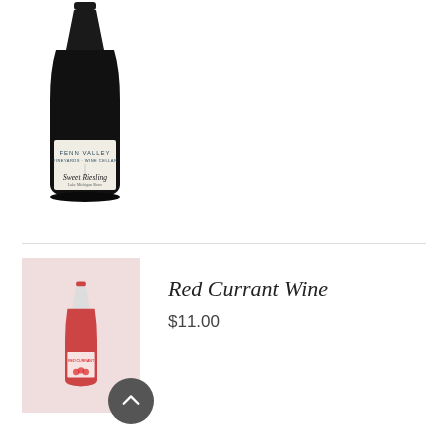[Figure (photo): Fenn Valley Sweet Riesling wine bottle on white background]
[Figure (photo): Red Currant Wine bottle on pink/rose background thumbnail]
Red Currant Wine
$11.00